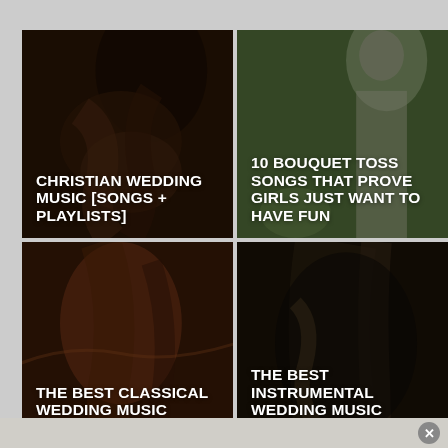[Figure (photo): 2x2 grid of wedding music article thumbnails. Top-left: couple holding hands photo with text 'CHRISTIAN WEDDING MUSIC [SONGS + PLAYLISTS]'. Top-right: bride outdoors photo with text '10 BOUQUET TOSS SONGS THAT PROVE GIRLS JUST WANT TO HAVE FUN'. Bottom-left: cello player warm-toned photo with text 'THE BEST CLASSICAL WEDDING MUSIC [SONGS + PLAYLISTS]'. Bottom-right: cello close-up dark photo with text 'THE BEST INSTRUMENTAL WEDDING MUSIC [SONGS + PLAYLISTS]'.]